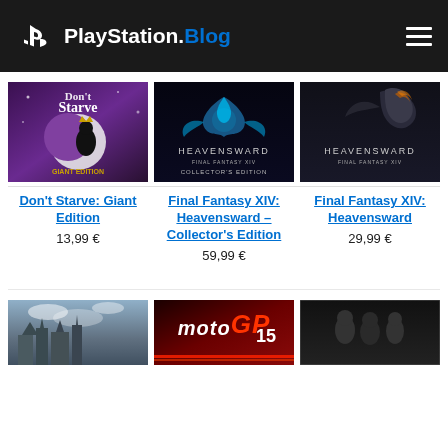PlayStation.Blog
[Figure (screenshot): Don't Starve: Giant Edition game cover art - dark purple illustrated style]
[Figure (screenshot): Final Fantasy XIV: Heavensward – Collector's Edition cover art with blue phoenix]
[Figure (screenshot): Final Fantasy XIV: Heavensward cover art with dark creature]
Don't Starve: Giant Edition
13,99 €
Final Fantasy XIV: Heavensward – Collector's Edition
59,99 €
Final Fantasy XIV: Heavensward
29,99 €
[Figure (screenshot): Partial game cover - city/castle scene]
[Figure (screenshot): MotoGP 15 game cover]
[Figure (screenshot): Partial game cover - dark background with characters]